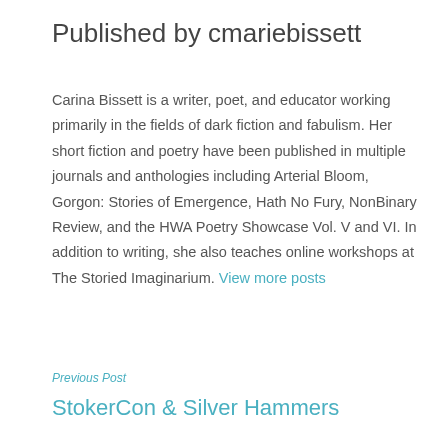Published by cmariebissett
Carina Bissett is a writer, poet, and educator working primarily in the fields of dark fiction and fabulism. Her short fiction and poetry have been published in multiple journals and anthologies including Arterial Bloom, Gorgon: Stories of Emergence, Hath No Fury, NonBinary Review, and the HWA Poetry Showcase Vol. V and VI. In addition to writing, she also teaches online workshops at The Storied Imaginarium. View more posts
Previous Post
StokerCon & Silver Hammers